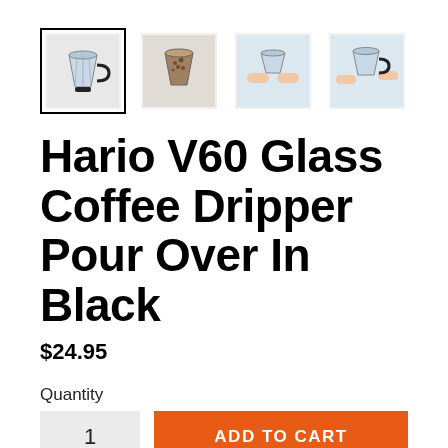[Figure (photo): Four product thumbnail images of Hario V60 Glass Coffee Dripper. First thumbnail is selected with a black border showing a glass dripper with black handle. Second shows coffee grounds in the dripper. Third shows hands holding the dripper. Fourth shows hands adjusting the dripper.]
Hario V60 Glass Coffee Dripper Pour Over In Black
$24.95
Quantity
1
ADD TO CART